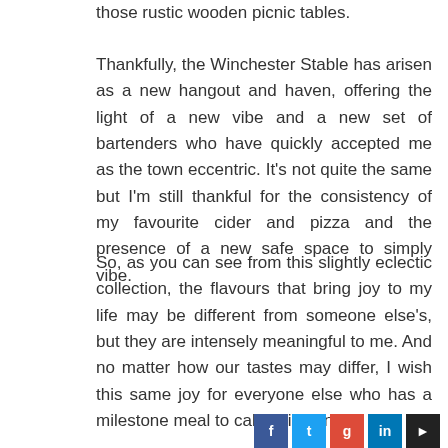those rustic wooden picnic tables.
Thankfully, the Winchester Stable has arisen as a new hangout and haven, offering the light of a new vibe and a new set of bartenders who have quickly accepted me as the town eccentric. It’s not quite the same but I’m still thankful for the consistency of my favourite cider and pizza and the presence of a new safe space to simply vibe.
So, as you can see from this slightly eclectic collection, the flavours that bring joy to my life may be different from someone else’s, but they are intensely meaningful to me. And no matter how our tastes may differ, I wish this same joy for everyone else who has a milestone meal to call their own.